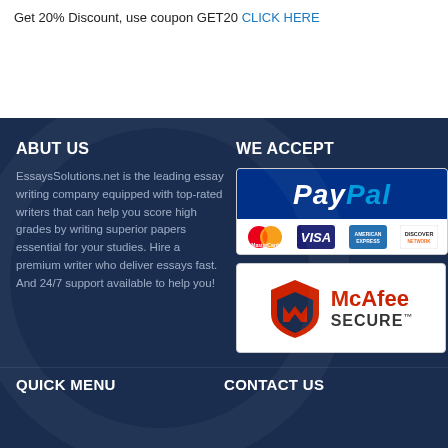Get 20% Discount,  use coupon GET20 CLICK HERE
ABUT US
EssaysSolutions.net is the leading essay writing company equipped with top-rated writers that can help you score high grades by writing superior papers essential for your studies. Hire a premium writer who deliver essays fast. And 24/7 support available to help you!
WE ACCEPT
[Figure (logo): PayPal acceptance badge showing PayPal logo and credit card logos: MasterCard, VISA, American Express, Discover]
[Figure (logo): McAfee SECURE badge]
QUICK MENU
CONTACT US